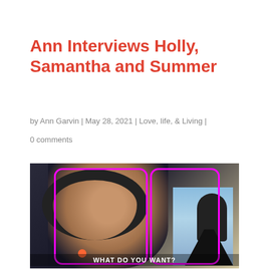Ann Interviews Holly, Samantha and Summer
by Ann Garvin | May 28, 2021 | Love, life, & Living |
0 comments
[Figure (photo): A person wearing large black headphones smiling, shown in profile view near a microphone. Two magenta/pink rectangular outlines overlay the image. At the bottom text reads 'WHAT DO YOU WANT?' with a podcast logo circle. Background shows a home studio setting.]